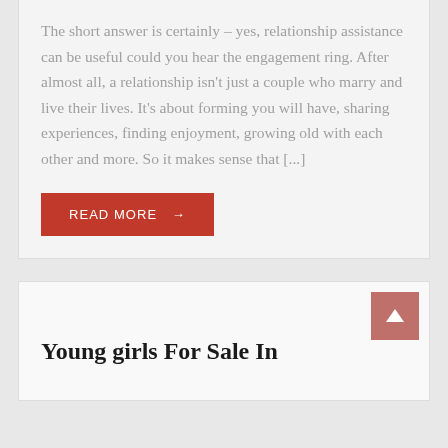The short answer is certainly – yes, relationship assistance can be useful could you hear the engagement ring. After almost all, a relationship isn't just a couple who marry and live their lives. It's about forming you will have, sharing experiences, finding enjoyment, growing old with each other and more. So it makes sense that [...]
READ MORE →
Young girls For Sale In